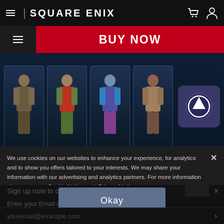SQUARE ENIX
BUY NOW
[Figure (screenshot): Four game character models displayed in card frames against a dark blue background, with an upgrade/arrow button on the right.]
We use cookies on our websites to enhance your experience, for analytics and to show you offers tailored to your interests. We may share your information with our advertising and analytics partners. For more information please see our Cookie Notice and Privacy Notice.
Sign up now to our Newsletter
Enter your Email A
Okay
youremail@example.com